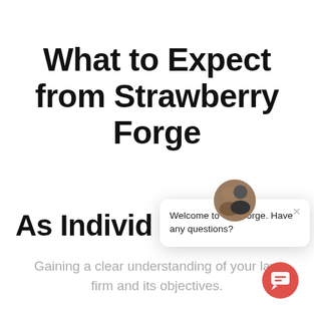What to Expect from Strawberry Forge
As Individ…
Gaining a clear understanding of your law firm and its objectives.
[Figure (screenshot): Chat widget popup with two avatar photos and message: 'Welcome to The Forge. Have any questions?' with a close button, overlaying the page content.]
[Figure (other): Red circular chat bubble button in the bottom right corner.]